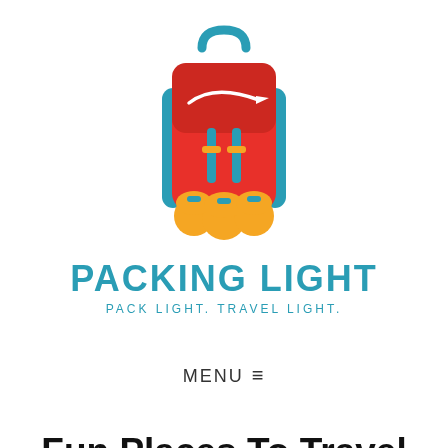[Figure (logo): Packing Light logo: a red backpack with teal straps and orange rolls at the bottom, a white airplane silhouette on the front, with teal handle at top. Below the backpack graphic is the text 'PACKING LIGHT' in bold teal and 'PACK LIGHT. TRAVEL LIGHT.' in smaller teal text.]
MENU ≡
Fun Places To Travel With Friends In The